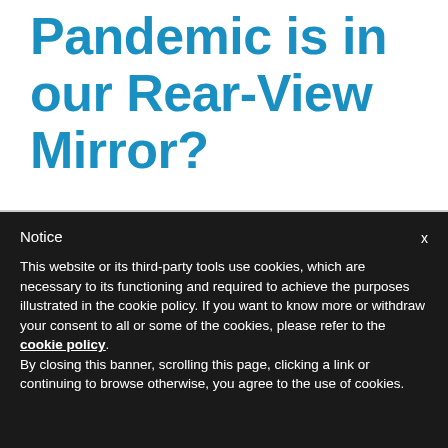Pandemic is in our Rear-View Mirror?
Notice
This website or its third-party tools use cookies, which are necessary to its functioning and required to achieve the purposes illustrated in the cookie policy. If you want to know more or withdraw your consent to all or some of the cookies, please refer to the cookie policy.
By closing this banner, scrolling this page, clicking a link or continuing to browse otherwise, you agree to the use of cookies.